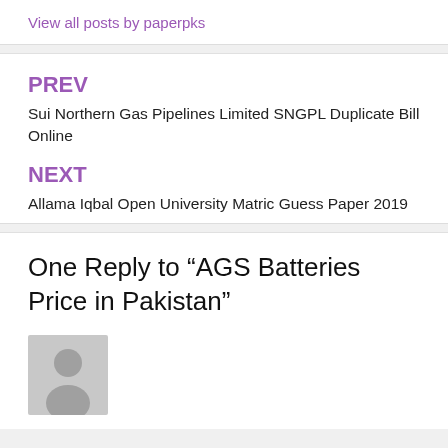View all posts by paperpks
PREV
Sui Northern Gas Pipelines Limited SNGPL Duplicate Bill Online
NEXT
Allama Iqbal Open University Matric Guess Paper 2019
One Reply to “AGS Batteries Price in Pakistan”
[Figure (illustration): Generic user avatar silhouette in grey]